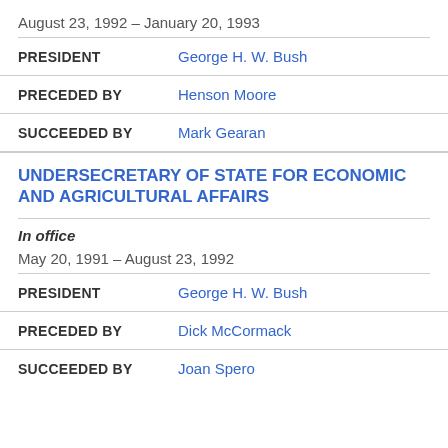August 23, 1992 – January 20, 1993
PRESIDENT: George H. W. Bush
PRECEDED BY: Henson Moore
SUCCEEDED BY: Mark Gearan
UNDERSECRETARY OF STATE FOR ECONOMIC AND AGRICULTURAL AFFAIRS
In office
May 20, 1991 – August 23, 1992
PRESIDENT: George H. W. Bush
PRECEDED BY: Dick McCormack
SUCCEEDED BY: Joan Spero